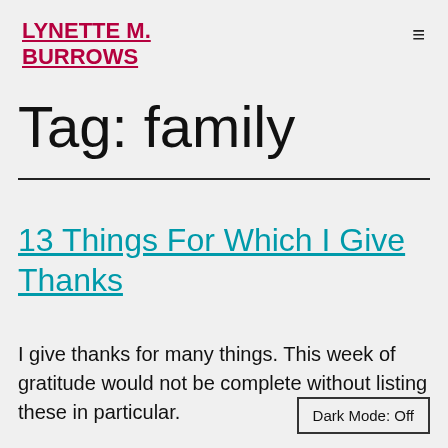LYNETTE M. BURROWS
Tag: family
13 Things For Which I Give Thanks
I give thanks for many things. This week of gratitude would not be complete without listing these in particular.
Dark Mode: Off